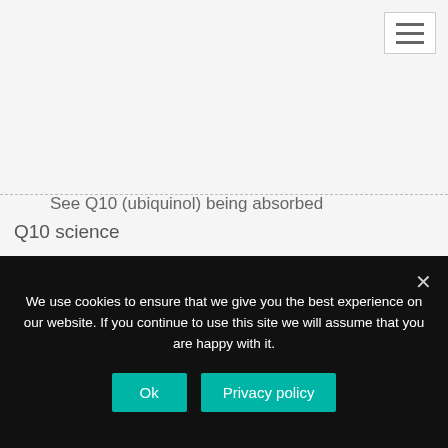[Figure (other): Hamburger menu icon button in top-right corner]
See Q10 (ubiquinol) being absorbed
Q10 science
Q10 slides
We use cookies to ensure that we give you the best experience on our website. If you continue to use this site we will assume that you are happy with it.
Ok
Privacy policy